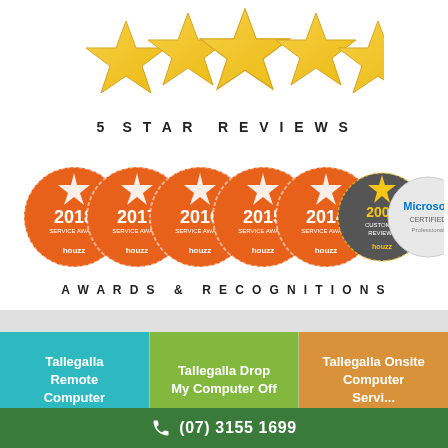[Figure (illustration): Five golden 3D stars in a row at the top of the page]
5 STAR REVIEWS
[Figure (illustration): Row of award badges: 2018, 2017, 2016, 2015, 2014 Service Award badges in orange, plus a dark badge for 200+ Customer Reviews and a Microsoft Certified Professional badge]
AWARDS & RECOGNITIONS
Tallegalla Remote Computer
Tallegalla Drop My Computer Off
Tallegalla Onsite Computer Servi...
(07) 3155 1699